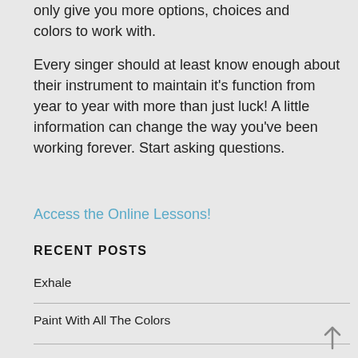only give you more options, choices and colors to work with.
Every singer should at least know enough about their instrument to maintain it’s function from year to year with more than just luck! A little information can change the way you’ve been working forever. Start asking questions.
Access the Online Lessons!
RECENT POSTS
Exhale
Paint With All The Colors